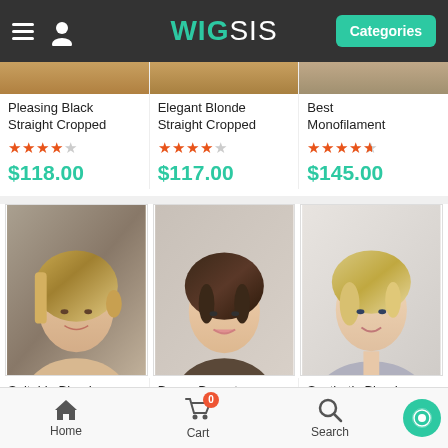WIG SIS — Categories
[Figure (screenshot): Partial product image row at top, cut off]
Pleasing Black Straight Cropped
★★★★☆  $118.00
Elegant Blonde Straight Cropped
★★★★☆  $117.00
Best Monofilament
★★★★½  $145.00
[Figure (photo): Suitable Blonde Lace Front wig product photo — woman with blonde short wig]
[Figure (photo): Brown Boycuts Soft Straight Short wig product photo — woman with short dark brown boycut wig]
[Figure (photo): Synthetic Blonde Monofilament wig product photo — woman with short blonde wig]
Suitable Blonde Lace Front
Brown Boycuts Soft Straight Short
Synthetic Blonde Monofilament
Home   Cart 0   Search